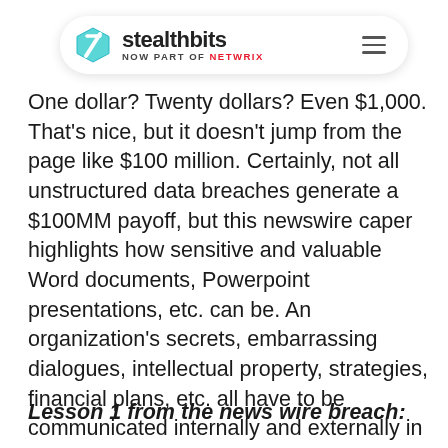stealthbits NOW PART OF netwrix
One dollar? Twenty dollars? Even $1,000. That's nice, but it doesn't jump from the page like $100 million. Certainly, not all unstructured data breaches generate a $100MM payoff, but this newswire caper highlights how sensitive and valuable Word documents, Powerpoint presentations, etc. can be. An organization's secrets, embarrassing dialogues, intellectual property, strategies, financial plans, etc. all have to be communicated internally and externally in the form of unstructured data.
Lesson 1 from the news wire breach: